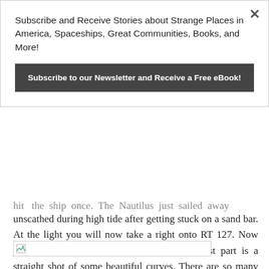Subscribe and Receive Stories about Strange Places in America, Spaceships, Great Communities, Books, and More!
Subscribe to our Newsletter and Receive a Free eBook!
hit the ship once. The Nautilus just sailed away unscathed during high tide after getting stuck on a sand bar. At the light you will now take a right onto RT 127. Now just follow the signs. The road for the most part is a straight shot of some beautiful curves. There are so many cool houses to see on this road!
[Figure (photo): Image placeholder with broken image icon]